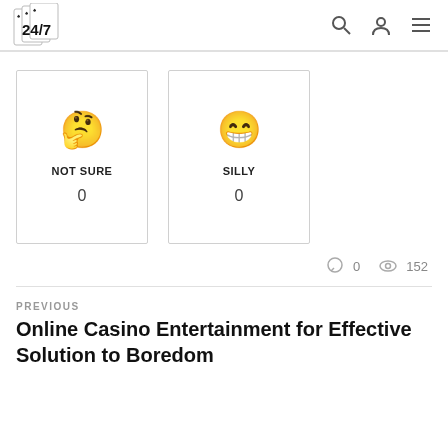24/7 [logo with playing cards]
[Figure (illustration): Reaction card: thinking face emoji labeled NOT SURE with count 0]
[Figure (illustration): Reaction card: grinning face with big teeth emoji labeled SILLY with count 0]
0 comments · 152 views
PREVIOUS
Online Casino Entertainment for Effective Solution to Boredom